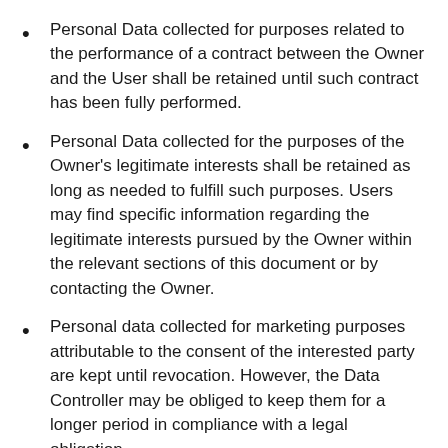Personal Data collected for purposes related to the performance of a contract between the Owner and the User shall be retained until such contract has been fully performed.
Personal Data collected for the purposes of the Owner's legitimate interests shall be retained as long as needed to fulfill such purposes. Users may find specific information regarding the legitimate interests pursued by the Owner within the relevant sections of this document or by contacting the Owner.
Personal data collected for marketing purposes attributable to the consent of the interested party are kept until revocation. However, the Data Controller may be obliged to keep them for a longer period in compliance with a legal obligation.